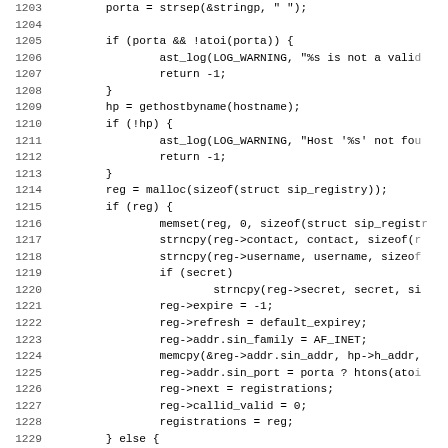Source code listing lines 1203–1235, C programming language, showing SIP registry registration function logic including port validation, hostname lookup, memory allocation, and struct initialization.